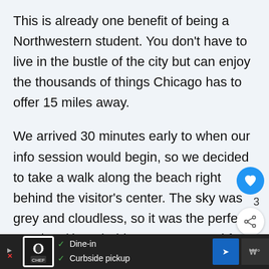This is already one benefit of being a Northwestern student. You don't have to live in the bustle of the city but can enjoy the thousands of things Chicago has to offer 15 miles away.
We arrived 30 minutes early to when our info session would begin, so we decided to take a walk along the beach right behind the visitor's center. The sky was grey and cloudless, so it was the perfect weather (though this wasn't so good for the walking
[Figure (screenshot): Mobile advertisement bar at bottom: restaurant ad with dine-in and curbside pickup options]